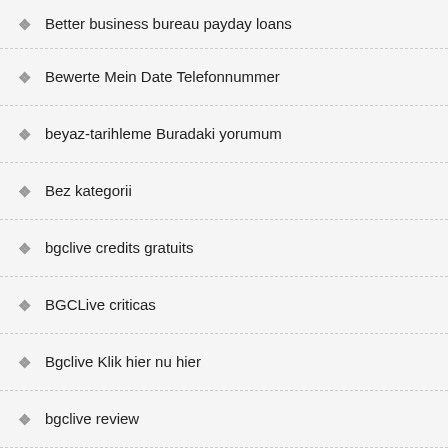Better business bureau payday loans
Bewerte Mein Date Telefonnummer
beyaz-tarihleme Buradaki yorumum
Bez kategorii
bgclive credits gratuits
BGCLive criticas
Bgclive Klik hier nu hier
bgclive review
BGCLive visitors
BHM Dating app
BHM Dating i migliori siti per single
BHM Dating services